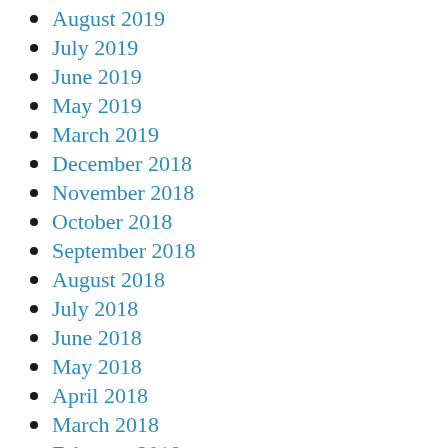August 2019
July 2019
June 2019
May 2019
March 2019
December 2018
November 2018
October 2018
September 2018
August 2018
July 2018
June 2018
May 2018
April 2018
March 2018
February 2018